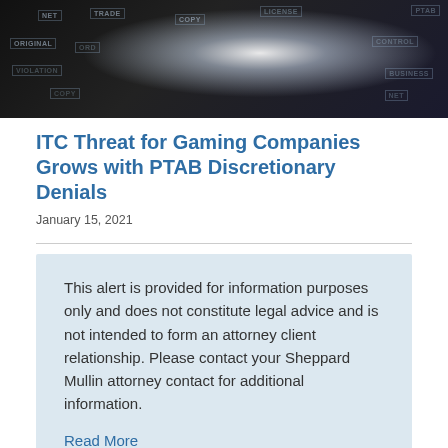[Figure (photo): Dark background image with glowing light effect and intellectual property related words (NET, TRADE, COPY, ORIGINAL, etc.) arranged as tags/labels]
ITC Threat for Gaming Companies Grows with PTAB Discretionary Denials
January 15, 2021
This alert is provided for information purposes only and does not constitute legal advice and is not intended to form an attorney client relationship. Please contact your Sheppard Mullin attorney contact for additional information.
Read More